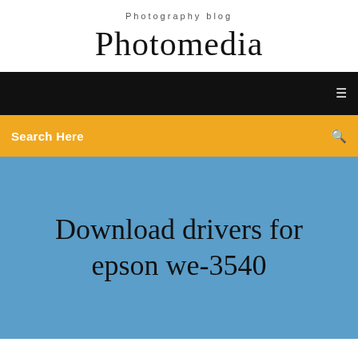Photography blog
Photomedia
[Figure (screenshot): Black navigation bar with a small white menu icon on the right]
[Figure (screenshot): Amber/orange search bar with 'Search Here' text on the left and a small dark search icon on the right]
Download drivers for epson we-3540